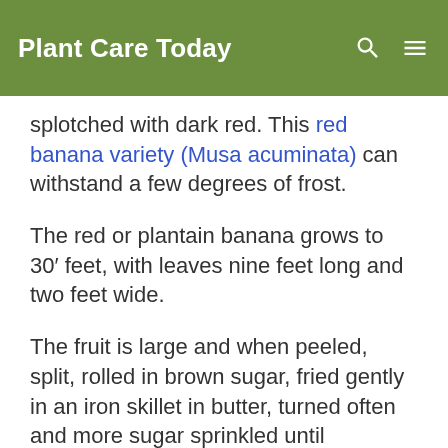Plant Care Today
splotched with dark red. This red banana variety (Musa acuminata) can withstand a few degrees of frost.
The red or plantain banana grows to 30′ feet, with leaves nine feet long and two feet wide.
The fruit is large and when peeled, split, rolled in brown sugar, fried gently in an iron skillet in butter, turned often and more sugar sprinkled until carmelized, it is delicious.